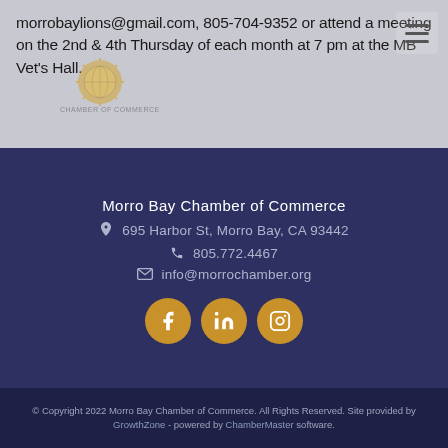morrobaylions@gmail.com, 805-704-9352 or attend a meeting on the 2nd & 4th Thursday of each month at 7 pm at the MB Vet's Hall.
[Figure (logo): Morro Bay Chamber of Commerce logo, circular sun design with text]
Morro Bay Chamber of Commerce
695 Harbor St, Morro Bay, CA 93442
805.772.4467
info@morrochamber.org
[Figure (illustration): Social media icons: Facebook, LinkedIn, Instagram — gold circles with white icons]
© Copyright 2022 Morro Bay Chamber of Commerce. All Rights Reserved. Site provided by GrowthZone - powered by ChamberMaster software.